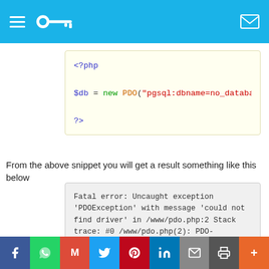Navigation header with hamburger menu, key logo, and mail icon
[Figure (screenshot): PHP code block on cream/yellow background showing: <?php $db = new PDO("pgsql:dbname=no_database;ho ?>]
From the above snippet you will get a result something like this below
[Figure (screenshot): Gray error box showing: Fatal error: Uncaught exception 'PDOException' with message 'could not find driver' in /www/pdo.php:2 Stack trace: #0 /www/pdo.php(2): PDO->__construct('pgsql:dbname=pd...', 'username', 'password') #1 {main} thrown in /www/pdo.php on line 2]
This is the default behaviour when an exception is not caught, a
Veri politikasındaki amaçlarla sınırlı ve mevzuata uygun şekilde çerez
Social share bar: Facebook, WhatsApp, Gmail, Twitter, Pinterest, LinkedIn, Mail, Print, More